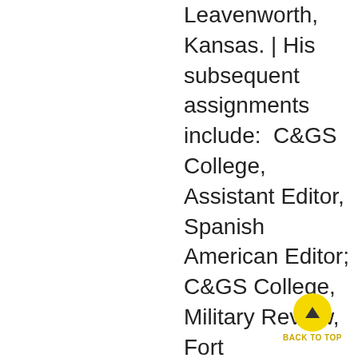Leavenworth, Kansas. | His subsequent assignments include:  C&GS College, Assistant Editor, Spanish American Editor; C&GS College, Military Review, Fort Leavenworth, Kansas; Rifle Co Comdr, 26th Inf Regiment, 1st Inf Div, Bamberg, Germany; Headquarters Co Cmdr, 26th Inf Regiment, 1st Inf Div, Bamberg, Germany; Hvy Wpns Cmdr, 26th Inf Regiment, 1st Inf Div, Bamberg, Germany; Adv Course, Infantry School, Fort Benning, Georgia; Office of the Dir of Instr, Infantry School, Fort Benning, Georgia; Plans & Prog Officer, MAAG, Spain; Foreign Liaison Officer, OACSI